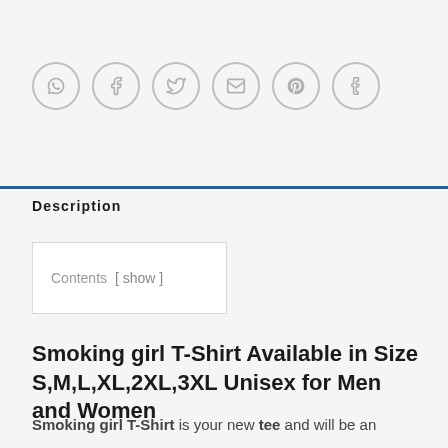[Figure (other): Row of six social sharing icon buttons (WhatsApp, Facebook, Twitter, Email, Pinterest, Tumblr) as outlined circles with grey icons]
Description
Contents [ show ]
Smoking girl T-Shirt Available in Size S,M,L,XL,2XL,3XL Unisex for Men and Women
Smoking girl T-Shirt is your new tee and will be an